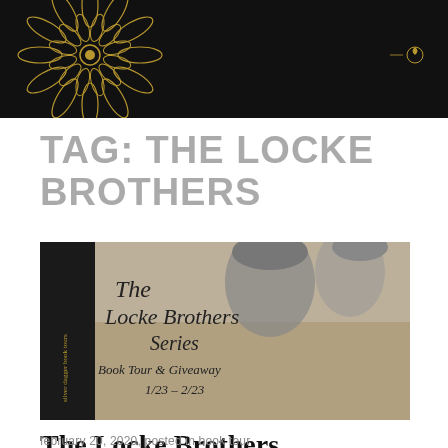[Figure (illustration): Black header background with gold mandala/floral ornamental designs on left and right sides, with Silver Dagger Book Tours logo elements]
TAG: THE LOCKE BROTHERS
[Figure (photo): Book tour promotional banner for The Locke Brothers Series Book Tour & Giveaway 1/23 - 2/23 by Silver Dagger Book Tours. Shows couple wearing beanies, man with sunglasses. Script text overlay reads: The Locke Brothers Series Book Tour & Giveaway 1/23 – 2/23]
The Locke Brothers
february 20, 2020, posted in book tour